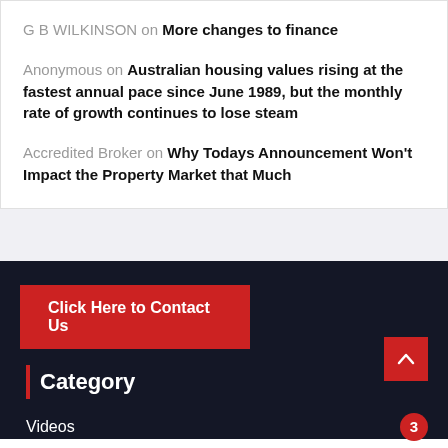G B WILKINSON on More changes to finance
Anonymous on Australian housing values rising at the fastest annual pace since June 1989, but the monthly rate of growth continues to lose steam
Accredited Broker on Why Todays Announcement Won't Impact the Property Market that Much
Click Here to Contact Us
Category
Videos 3